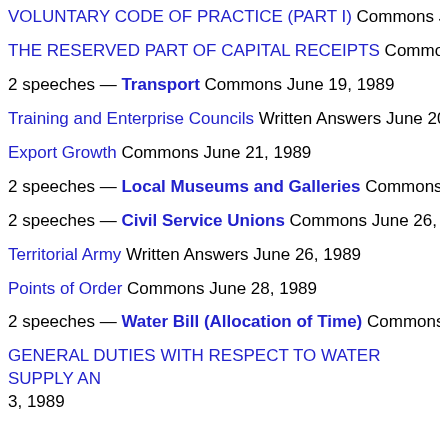VOLUNTARY CODE OF PRACTICE (PART I) Commons June
THE RESERVED PART OF CAPITAL RECEIPTS Commons J
2 speeches — Transport Commons June 19, 1989
Training and Enterprise Councils Written Answers June 20, 19
Export Growth Commons June 21, 1989
2 speeches — Local Museums and Galleries Commons Jun
2 speeches — Civil Service Unions Commons June 26, 1989
Territorial Army Written Answers June 26, 1989
Points of Order Commons June 28, 1989
2 speeches — Water Bill (Allocation of Time) Commons July
GENERAL DUTIES WITH RESPECT TO WATER SUPPLY AN 3, 1989